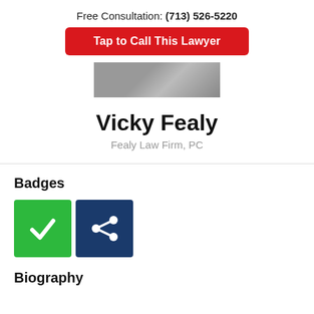Free Consultation: (713) 526-5220
Tap to Call This Lawyer
[Figure (photo): Partial photo of Vicky Fealy, lawyer, showing torso/neckline area]
Vicky Fealy
Fealy Law Firm, PC
Badges
[Figure (infographic): Green badge with white checkmark icon and dark blue badge with share/network icon]
Biography